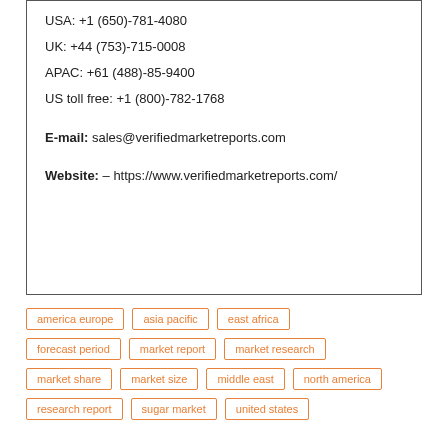USA: +1 (650)-781-4080
UK: +44 (753)-715-0008
APAC: +61 (488)-85-9400
US toll free: +1 (800)-782-1768
E-mail: sales@verifiedmarketreports.com
Website: – https://www.verifiedmarketreports.com/
america europe
asia pacific
east africa
forecast period
market report
market research
market share
market size
middle east
north america
research report
sugar market
united states